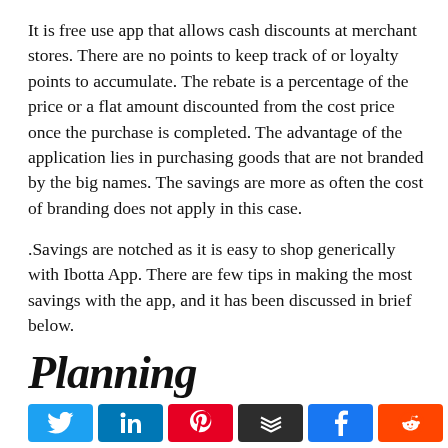It is free use app that allows cash discounts at merchant stores. There are no points to keep track of or loyalty points to accumulate. The rebate is a percentage of the price or a flat amount discounted from the cost price once the purchase is completed. The advantage of the application lies in purchasing goods that are not branded by the big names. The savings are more as often the cost of branding does not apply in this case.
.Savings are notched as it is easy to shop generically with Ibotta App. There are few tips in making the most savings with the app, and it has been discussed in brief below.
Planning